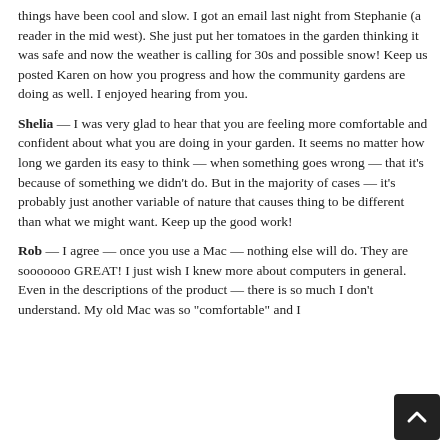things have been cool and slow. I got an email last night from Stephanie (a reader in the mid west). She just put her tomatoes in the garden thinking it was safe and now the weather is calling for 30s and possible snow! Keep us posted Karen on how you progress and how the community gardens are doing as well. I enjoyed hearing from you.
Shelia — I was very glad to hear that you are feeling more comfortable and confident about what you are doing in your garden. It seems no matter how long we garden its easy to think — when something goes wrong — that it's because of something we didn't do. But in the majority of cases — it's probably just another variable of nature that causes thing to be different than what we might want. Keep up the good work!
Rob — I agree — once you use a Mac — nothing else will do. They are sooooooo GREAT! I just wish I knew more about computers in general. Even in the descriptions of the product — there is so much I don't understand. My old Mac was so "comfortable" and I